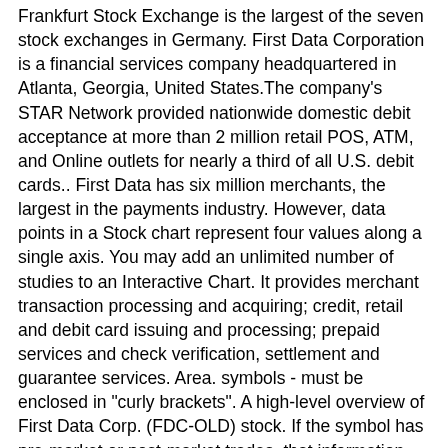Frankfurt Stock Exchange is the largest of the seven stock exchanges in Germany. First Data Corporation is a financial services company headquartered in Atlanta, Georgia, United States.The company's STAR Network provided nationwide domestic debit acceptance at more than 2 million retail POS, ATM, and Online outlets for nearly a third of all U.S. debit cards.. First Data has six million merchants, the largest in the payments industry. However, data points in a Stock chart represent four values along a single axis. You may add an unlimited number of studies to an Interactive Chart. It provides merchant transaction processing and acquiring; credit, retail and debit card issuing and processing; prepaid services and check verification, settlement and guarantee services. Area. symbols - must be enclosed in "curly brackets". A high-level overview of First Data Corp. (FDC-OLD) stock. If the symbol has pre-market or post-market trades, that information will also be reflected along with the last (closing) price from the symbol's exchange. As you scroll the chart's data set, the percent change is also recalculated and updated based on the data shown on the chart. Additionally, an expression can be added to the main chart window, or as a new pane on the chart (you'll choose the placement when you create the expression). Change the symbol either by entering a new symbol in the chart form, or by entering a new symbol in the Search box at